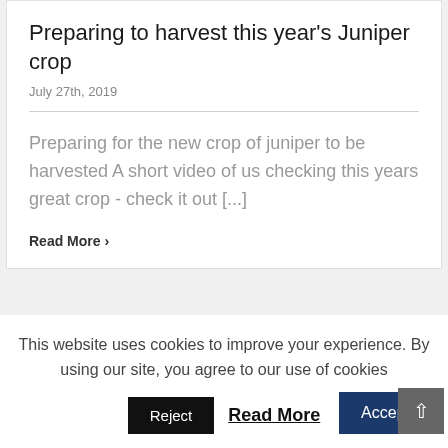Preparing to harvest this year's Juniper crop
July 27th, 2019
Preparing for the new crop of juniper to be harvested A short video of us checking this years great crop - check it out [...]
Read More >
This website uses cookies to improve your experience. By using our site, you agree to our use of cookies
Reject
Read More
Accept